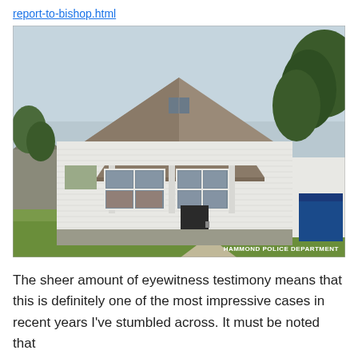report-to-bishop.html
[Figure (photo): Exterior photograph of a small white wood-sided bungalow house with a front porch, multiple windows, green lawn, and trees. Watermark reads HAMMOND POLICE DEPARTMENT.]
The sheer amount of eyewitness testimony means that this is definitely one of the most impressive cases in recent years I've stumbled across. It must be noted that